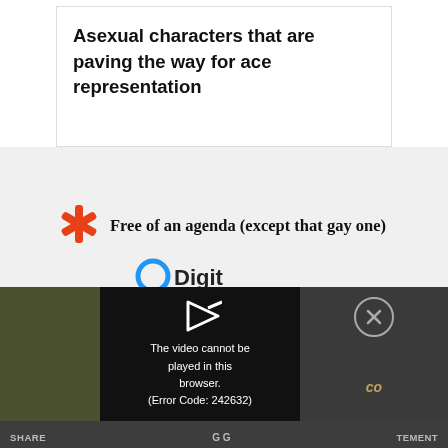Asexual characters that are paving the way for ace representation
Free of an agenda (except that gay one)
[Figure (screenshot): Partial logo with blue circle and text 'Digit...' partially visible]
[Figure (screenshot): Video player overlay on dark background showing error: The video cannot be played in this browser. (Error Code: 242632)]
TERMS OF USE   DO NOT SELL MY PERSONAL INFORMATION